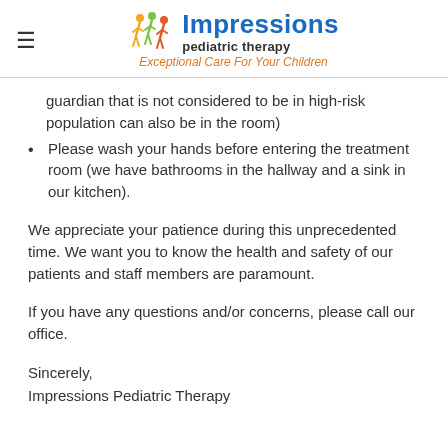Impressions pediatric therapy — Exceptional Care For Your Children
guardian that is not considered to be in high-risk population can also be in the room)
Please wash your hands before entering the treatment room (we have bathrooms in the hallway and a sink in our kitchen).
We appreciate your patience during this unprecedented time. We want you to know the health and safety of our patients and staff members are paramount.
If you have any questions and/or concerns, please call our office.
Sincerely,
Impressions Pediatric Therapy